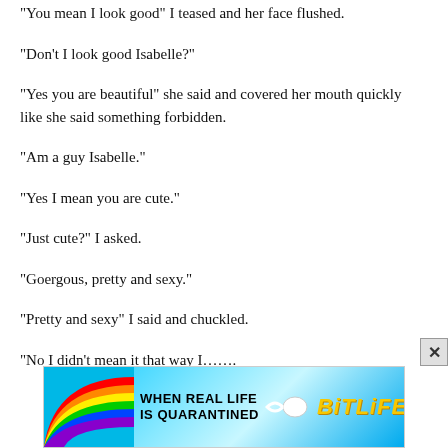“You mean I look good” I teased and her face flushed.
“Don’t I look good Isabelle?”
“Yes you are beautiful” she said and covered her mouth quickly like she said something forbidden.
“Am a guy Isabelle.”
“Yes I mean you are cute.”
“Just cute?” I asked.
“Goergous, pretty and sexy.”
“Pretty and sexy” I said and chuckled.
“No I didn’t mean it that way I……..
[Figure (infographic): BitLife mobile game advertisement banner with rainbow on left, text 'WHEN REAL LIFE IS QUARANTINED' and BitLife logo with emoji characters on right.]